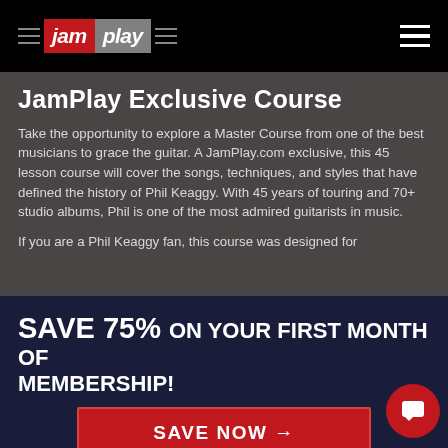jam play
JamPlay Exclusive Course
Take the opportunity to explore a Master Course from one of the best musicians to grace the guitar. A JamPlay.com exclusive, this 45 lesson course will cover the songs, techniques, and styles that have defined the history of Phil Keaggy. With 45 years of touring and 70+ studio albums, Phil is one of the most admired guitarists in music.
If you are a Phil Keaggy fan, this course was designed for
SAVE 75% ON YOUR FIRST MONTH OF MEMBERSHIP!
SAVE NOW →